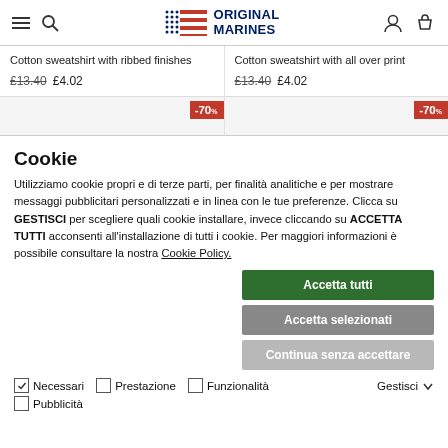Original Marines
Cotton sweatshirt with ribbed finishes £13.40 £4.02
Cotton sweatshirt with all over print £13.40 £4.02
[Figure (other): -70% discount badges on product cards]
Cookie
Utilizziamo cookie propri e di terze parti, per finalità analitiche e per mostrare messaggi pubblicitari personalizzati e in linea con le tue preferenze. Clicca su GESTISCI per scegliere quali cookie installare, invece cliccando su ACCETTA TUTTI acconsenti all'installazione di tutti i cookie. Per maggiori informazioni è possibile consultare la nostra Cookie Policy.
Accetta tutti
Accetta selezionati
Continua senza accettare
Necessari  Prestazione  Funzionalità  Gestisci  Pubblicità